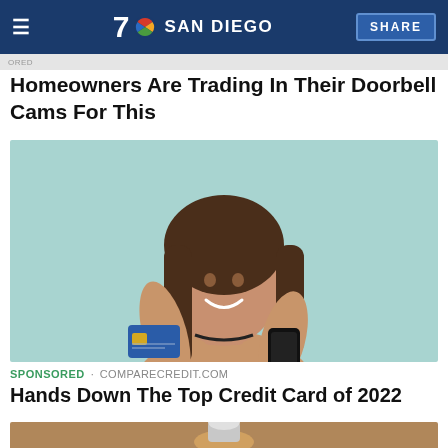7 SAN DIEGO  SHARE
Homeowners Are Trading In Their Doorbell Cams For This
[Figure (photo): Young woman smiling, holding a blue credit card in one hand and a smartphone in the other, standing against a light teal background, wearing a beige top.]
SPONSORED · COMPARECREDIT.COM
Hands Down The Top Credit Card of 2022
[Figure (photo): Bottom portion of a second article image, showing what appears to be a light bulb or metallic spiral object on a wooden surface.]